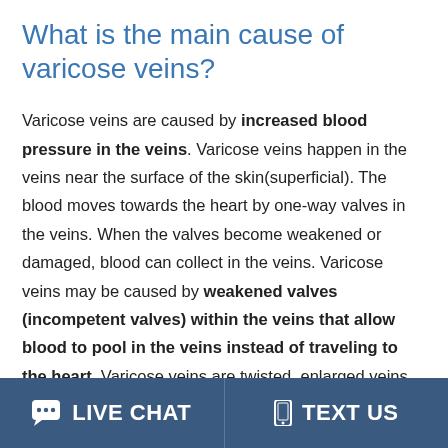What is the main cause of varicose veins?
Varicose veins are caused by increased blood pressure in the veins. Varicose veins happen in the veins near the surface of the skin(superficial). The blood moves towards the heart by one-way valves in the veins. When the valves become weakened or damaged, blood can collect in the veins. Varicose veins may be caused by weakened valves (incompetent valves) within the veins that allow blood to pool in the veins instead of traveling to the heart. Varicose veins are twisted, enlarged veins. Any
LIVE CHAT   TEXT US